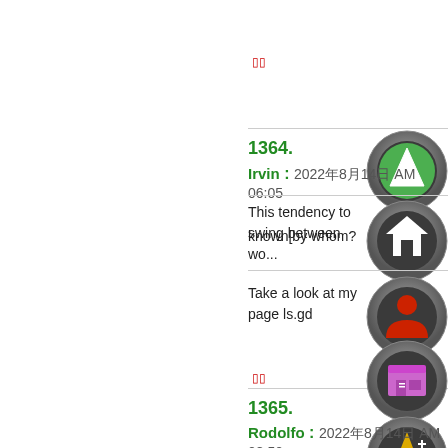00
1364.
Irvin : 2022年8月14日 AM 06:05
This tendency to swing between wo... known[by whom?
Take a look at my page ls.gd
00
1365.
Rodolfo : 2022年8月14日 AM 0?:50
The EIOPA Statistics section uses i